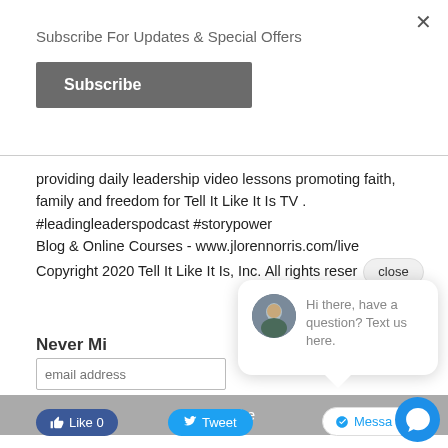×
Subscribe For Updates & Special Offers
Subscribe
providing daily leadership video lessons promoting faith, family and freedom for Tell It Like It Is TV . #leadingleaderspodcast #storypower Blog & Online Courses - www.jlorennorris.com/live Copyright 2020 Tell It Like It Is, Inc. All rights reserved. close
Never Mi...
email address
Subscribe
Hi there, have a question? Text us here.
Like 0
Tweet
Messa